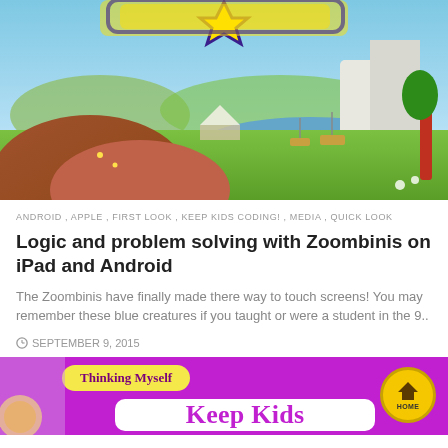[Figure (screenshot): Colorful animated game screenshot showing Zoombinis landscape with cliffs, water, and cartoon scenery with yellow star-shaped logo at top]
ANDROID , APPLE , FIRST LOOK , KEEP KIDS CODING! , MEDIA , QUICK LOOK
Logic and problem solving with Zoombinis on iPad and Android
The Zoombinis have finally made there way to touch screens! You may remember these blue creatures if you taught or were a student in the 9..
SEPTEMBER 9, 2015
[Figure (screenshot): Purple banner with 'Thinking Myself' text in yellow pill shape, 'Keep Kids' in pink on white rounded rectangle, sun graphic on left, home button on right]